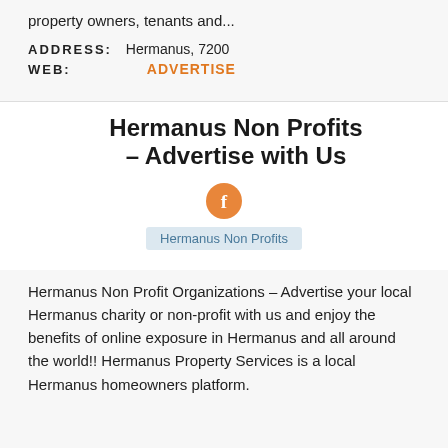property owners, tenants and...
ADDRESS: Hermanus, 7200
WEB: ADVERTISE
Hermanus Non Profits – Advertise with Us
[Figure (illustration): Orange circular Facebook icon]
Hermanus Non Profits
Hermanus Non Profit Organizations – Advertise your local Hermanus charity or non-profit with us and enjoy the benefits of online exposure in Hermanus and all around the world!! Hermanus Property Services is a local Hermanus homeowners platform.